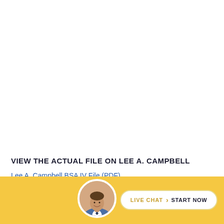VIEW THE ACTUAL FILE ON LEE A. CAMPBELL
Lee A. Campbell BSA IV File (PDF)
[Figure (infographic): Live chat banner with circular avatar photo of a man in a suit, a white pill-shaped button reading 'LIVE CHAT > START NOW' on a golden/yellow background]